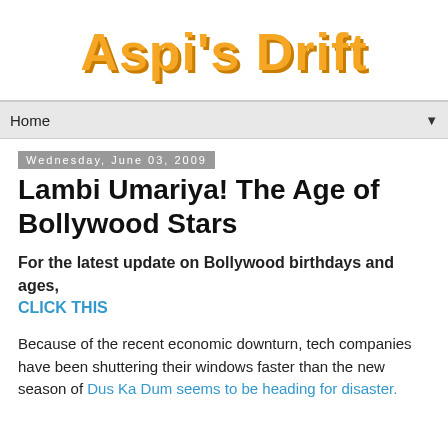Aspi's Drift
Home
Wednesday, June 03, 2009
Lambi Umariya! The Age of Bollywood Stars
For the latest update on Bollywood birthdays and ages, CLICK THIS
Because of the recent economic downturn, tech companies have been shuttering their windows faster than the new season of Dus Ka Dum seems to be heading for disaster.